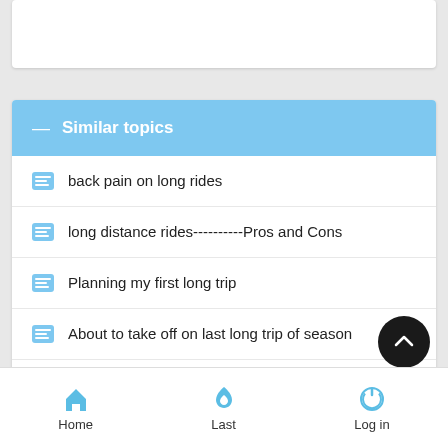Similar topics
back pain on long rides
long distance rides----------Pros and Cons
Planning my first long trip
About to take off on last long trip of season
high speed long trip
Home   Last   Log in